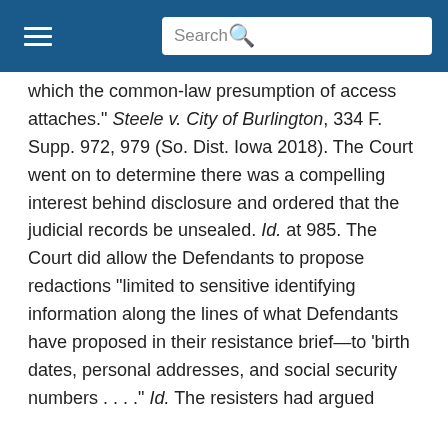Search
which the common-law presumption of access attaches." Steele v. City of Burlington, 334 F. Supp. 972, 979 (So. Dist. Iowa 2018). The Court went on to determine there was a compelling interest behind disclosure and ordered that the judicial records be unsealed. Id. at 985. The Court did allow the Defendants to propose redactions “limited to sensitive identifying information along the lines of what Defendants have proposed in their resistance brief—to ‘birth dates, personal addresses, and social security numbers . . . .” Id. The resisters had argued